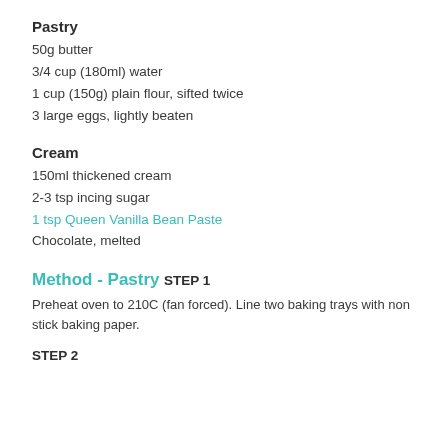Pastry
50g butter
3/4 cup (180ml) water
1 cup (150g) plain flour, sifted twice
3 large eggs, lightly beaten
Cream
150ml thickened cream
2-3 tsp incing sugar
1 tsp Queen Vanilla Bean Paste
Chocolate, melted
Method - Pastry
STEP 1
Preheat oven to 210C (fan forced). Line two baking trays with non stick baking paper.
STEP 2